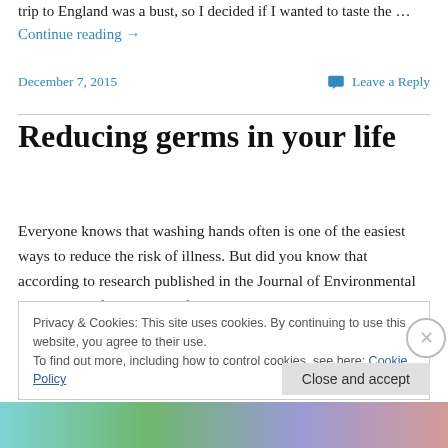trip to England was a bust, so I decided if I wanted to taste the … Continue reading →
December 7, 2015   Leave a Reply
Reducing germs in your life
Everyone knows that washing hands often is one of the easiest ways to reduce the risk of illness. But did you know that according to research published in the Journal of Environmental Health, only five percent of people wash
Privacy & Cookies: This site uses cookies. By continuing to use this website, you agree to their use. To find out more, including how to control cookies, see here: Cookie Policy
Close and accept